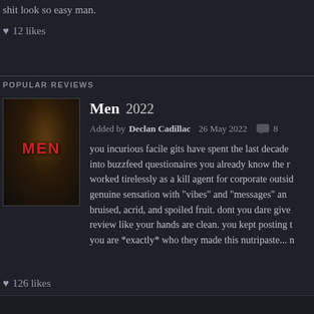shit look so easy man.
♥ 12 likes
POPULAR REVIEWS
[Figure (photo): Movie poster thumbnail for Men (2022) showing a dark figure with red MEN text overlay]
Men 2022
Added by Declan Cadillac  26 May 2022  💬 8
you incurious facile gits have spent the last decade into buzzfeed questionaires you already know the r worked tirelessly as a kill agent for corporate outsid genuine sensation with "vibes" and "messages" and bruised, acrid, and spoiled fruit. dont you dare give review like your hands are clean. you kept posting t you are *exactly* who they made this nutripaste... n
♥ 126 likes